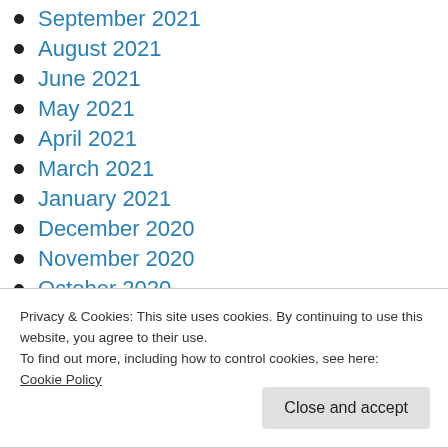September 2021
August 2021
June 2021
May 2021
April 2021
March 2021
January 2021
December 2020
November 2020
October 2020
July 2020
Privacy & Cookies: This site uses cookies. By continuing to use this website, you agree to their use.
To find out more, including how to control cookies, see here:
Cookie Policy
Close and accept